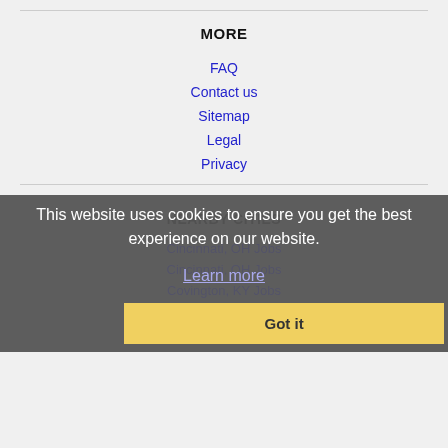MORE
FAQ
Contact us
Sitemap
Legal
Privacy
NEARBY CITIES
This website uses cookies to ensure you get the best experience on our website.
Learn more
Got it
Cincinnati, OH Jobs
Covington, KY Jobs
Dayton, OH Jobs
Fairfield, OH Jobs